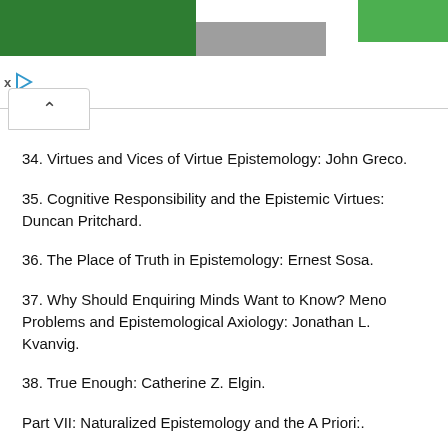34. Virtues and Vices of Virtue Epistemology: John Greco.
35. Cognitive Responsibility and the Epistemic Virtues: Duncan Pritchard.
36. The Place of Truth in Epistemology: Ernest Sosa.
37. Why Should Enquiring Minds Want to Know? Meno Problems and Epistemological Axiology: Jonathan L. Kvanvig.
38. True Enough: Catherine Z. Elgin.
Part VII: Naturalized Epistemology and the A Priori:.
Introduction.